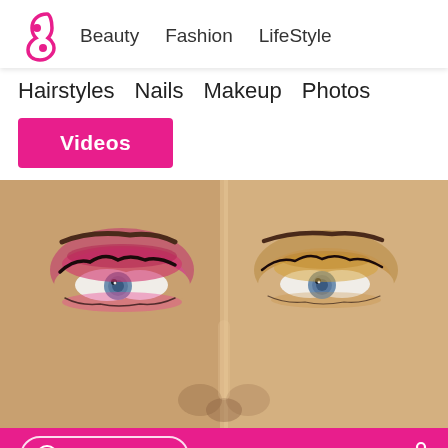Beauty  Fashion  LifeStyle
Hairstyles  Nails  Makeup  Photos
Videos
[Figure (photo): Close-up of a woman's face split down the middle showing two different eye makeup looks: left side has bold pink/magenta eyeshadow, right side has neutral golden/bronze eyeshadow. Both eyes are blue.]
EXPLORE